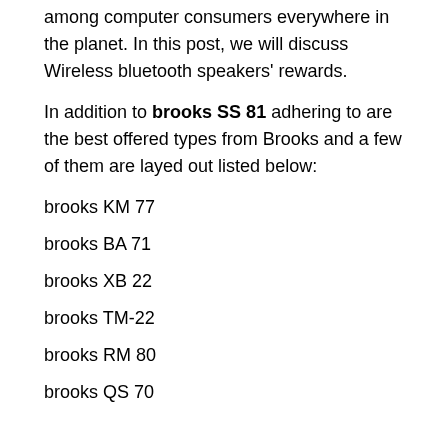among computer consumers everywhere in the planet. In this post, we will discuss Wireless bluetooth speakers' rewards.
In addition to brooks SS 81 adhering to are the best offered types from Brooks and a few of them are layed out listed below:
brooks KM 77
brooks BA 71
brooks XB 22
brooks TM-22
brooks RM 80
brooks QS 70